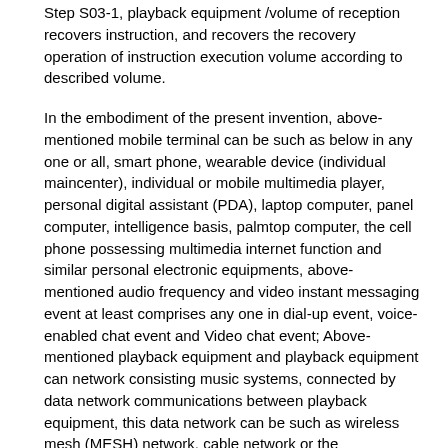Step S03-1, playback equipment /volume of reception recovers instruction, and recovers the recovery operation of instruction execution volume according to described volume.
In the embodiment of the present invention, above-mentioned mobile terminal can be such as below in any one or all, smart phone, wearable device (individual maincenter), individual or mobile multimedia player, personal digital assistant (PDA), laptop computer, panel computer, intelligence basis, palmtop computer, the cell phone possessing multimedia internet function and similar personal electronic equipments, above-mentioned audio frequency and video instant messaging event at least comprises any one in dial-up event, voice-enabled chat event and Video chat event; Above-mentioned playback equipment and playback equipment can network consisting music systems, connected by data network communications between playback equipment, this data network can be such as wireless mesh (MESH) network, cable network or the combination of both, and at least one playback equipment of mobile terminal and online music system keeps communicating to connect.